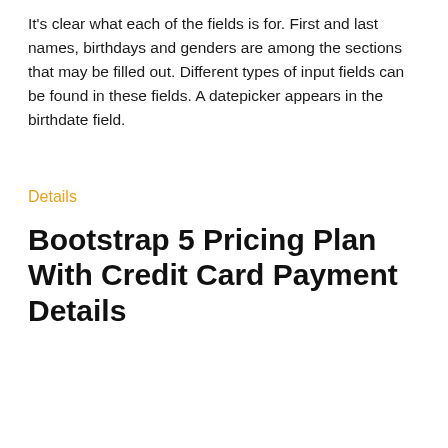It's clear what each of the fields is for. First and last names, birthdays and genders are among the sections that may be filled out. Different types of input fields can be found in these fields. A datepicker appears in the birthdate field.
Details
Bootstrap 5 Pricing Plan With Credit Card Payment Details
[Figure (screenshot): UI card showing 'Upgrade your plan' with subtitle 'Please make the payment to start enjoying all the features of our premium plan as soon as possible', and a plan selection box showing 'Small Business / CHANGE PLAN' with price '$8,350 / year']